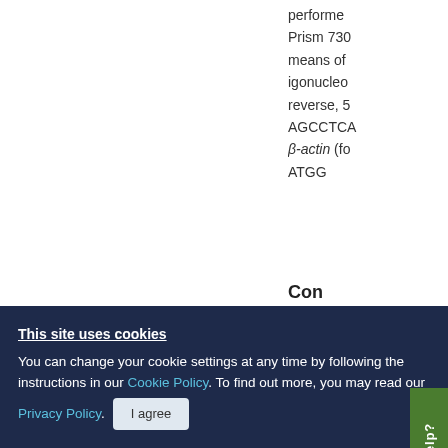performed Prism 730 means of igonucleo reverse, 5 AGCCTCA β-actin (fo ATGG
Con
Effe index (3 (20,21). n rule was a
This site uses cookies
You can change your cookie settings at any time by following the instructions in our Cookie Policy. To find out more, you may read our Privacy Policy.
I agree